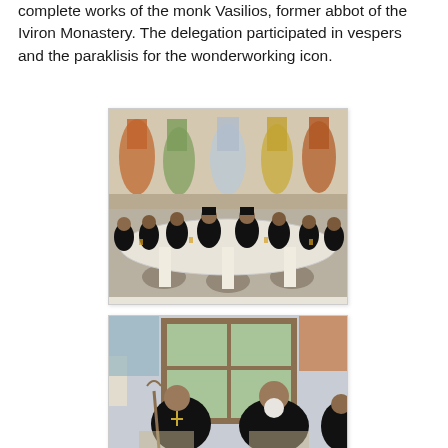complete works of the monk Vasilios, former abbot of the Iviron Monastery. The delegation participated in vespers and the paraklisis for the wonderworking icon.
[Figure (photo): Group of clergy in black robes seated around a curved table in a room with colorful mural paintings on the wall depicting robed figures.]
[Figure (photo): Two elderly clergy members in black robes seated and conversing near a window.]